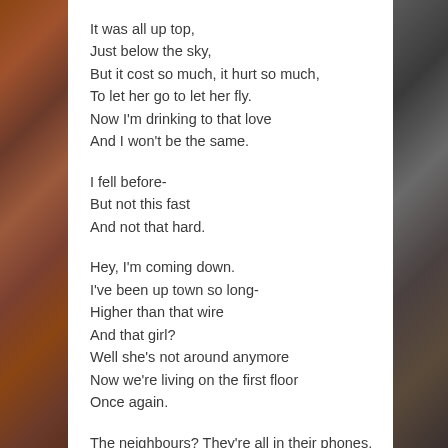It was all up top,
Just below the sky,
But it cost so much, it hurt so much,
To let her go to let her fly.
Now I'm drinking to that love
And I won't be the same.

I fell before-
But not this fast
And not that hard.

Hey, I'm coming down.
I've been up town so long-
Higher than that wire
And that girl?
Well she's not around anymore
Now we're living on the first floor
Once again.

The neighbours? They're all in their phones.